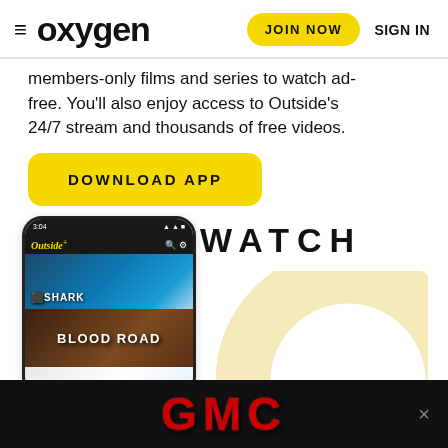≡ oxygen  JOIN NOW  SIGN IN
members-only films and series to watch ad-free. You'll also enjoy access to Outside's 24/7 stream and thousands of free videos.
DOWNLOAD APP
[Figure (screenshot): Mobile phone mockup showing the Outside+ app with three panels: a shark swimming underwater with 'SHARK' text overlay, a 'BLOOD ROAD' film poster with dark jungle background, and a skier in colorful gear on a snowy mountain]
WATCH
[Figure (logo): GMC logo in red metallic letters on black background advertisement banner with an X close button]
×